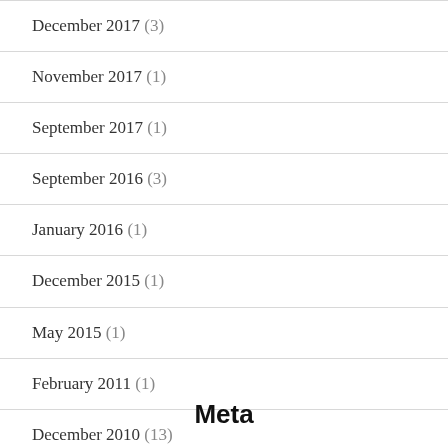December 2017 (3)
November 2017 (1)
September 2017 (1)
September 2016 (3)
January 2016 (1)
December 2015 (1)
May 2015 (1)
February 2011 (1)
December 2010 (13)
Meta